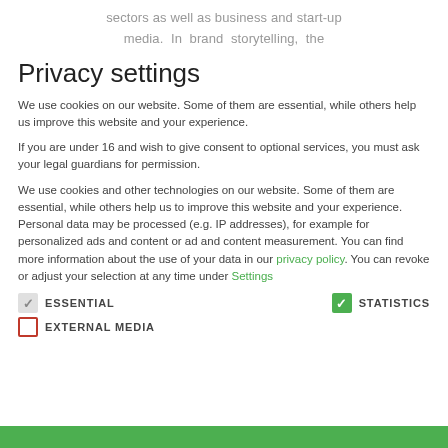sectors as well as business and start-up media. In brand storytelling, the
Privacy settings
We use cookies on our website. Some of them are essential, while others help us improve this website and your experience.
If you are under 16 and wish to give consent to optional services, you must ask your legal guardians for permission.
We use cookies and other technologies on our website. Some of them are essential, while others help us to improve this website and your experience. Personal data may be processed (e.g. IP addresses), for example for personalized ads and content or ad and content measurement. You can find more information about the use of your data in our privacy policy. You can revoke or adjust your selection at any time under Settings
ESSENTIAL
STATISTICS
EXTERNAL MEDIA